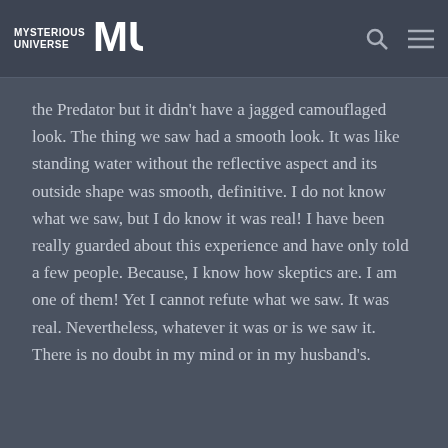MYSTERIOUS UNIVERSE
the Predator but it didn't have a jagged camouflaged look. The thing we saw had a smooth look. It was like standing water without the reflective aspect and its outside shape was smooth, definitive. I do not know what we saw, but I do know it was real! I have been really guarded about this experience and have only told a few people. Because, I know how skeptics are. I am one of them! Yet I cannot refute what we saw. It was real. Nevertheless, whatever it was or is we saw it. There is no doubt in my mind or in my husband's.